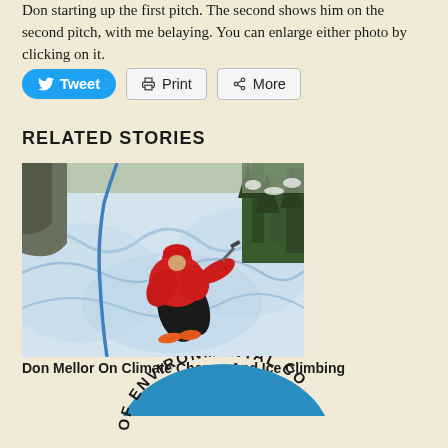Don starting up the first pitch. The second shows him on the second pitch, with me belaying. You can enlarge either photo by clicking on it.
Tweet
Print
More
RELATED STORIES
[Figure (photo): A person in a red jacket and orange crampons ice climbing on a frozen waterfall, with a blue rope visible, surrounded by snow-covered trees.]
Don Mellor On Climate Change And Ice Climbing
[Figure (logo): Partial circular logo reading 'OF ENVIRONMENTAL CO...' in blue and black arc text over a blue semicircle.]